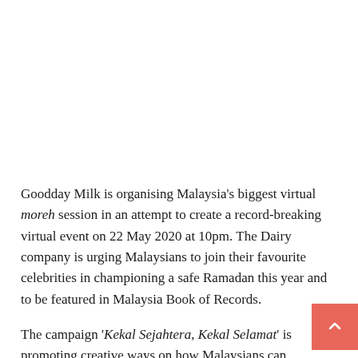Goodday Milk is organising Malaysia's biggest virtual moreh session in an attempt to create a record-breaking virtual event on 22 May 2020 at 10pm. The Dairy company is urging Malaysians to join their favourite celebrities in championing a safe Ramadan this year and to be featured in Malaysia Book of Records.
The campaign 'Kekal Sejahtera, Kekal Selamat' is promoting creative ways on how Malaysians can celebrate the month of